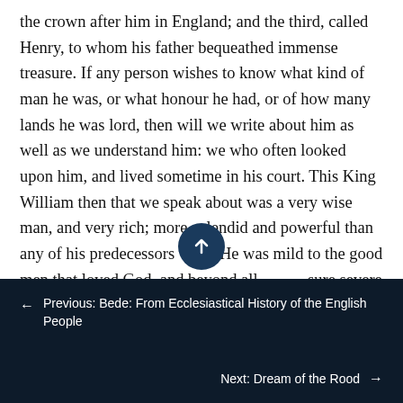the crown after him in England; and the third, called Henry, to whom his father bequeathed immense treasure. If any person wishes to know what kind of man he was, or what honour he had, or of how many lands he was lord, then will we write about him as well as we understand him: we who often looked upon him, and lived sometime in his court. This King William then that we speak about was a very wise man, and very rich; more splendid and powerful than any of his predecessors were. He was mild to the good men that loved God, and beyond all measure severe to the men that gainsayed his will. On that same spot where
← Previous: Bede: From Ecclesiastical History of the English People    Next: Dream of the Rood →